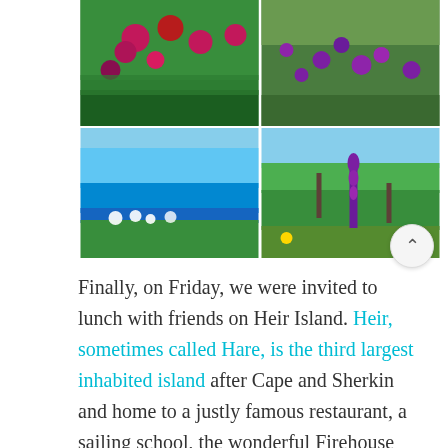[Figure (photo): Four photos of natural scenery arranged in a 2x2 grid: top-left shows pink/red flowers with green leaves, top-right shows purple wildflowers in green grass, bottom-left shows white flowers on a grassy cliff edge with blue sea in background, bottom-right shows a foxglove purple flower spike with green hillside landscape and blue sky.]
Finally, on Friday, we were invited to lunch with friends on Heir Island. Heir, sometimes called Hare, is the third largest inhabited island after Cape and Sherkin and home to a justly famous restaurant, a sailing school, the wonderful Firehouse Bakery Bread-Making course (we wrote